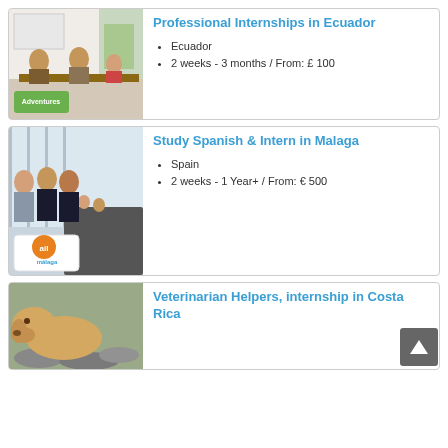[Figure (photo): Office/internship scene with people working at desks, with an Advenures logo overlay]
Professional Internships in Ecuador
Ecuador
2 weeks - 3 months / From: £ 100
[Figure (photo): Business professionals standing in a modern conference room, with ail malaga logo overlay]
Study Spanish & Intern in Malaga
Spain
2 weeks - 1 Year+ / From: € 500
[Figure (photo): Golden Labrador puppy lying on rocky ground]
Veterinarian Helpers, internship in Costa Rica